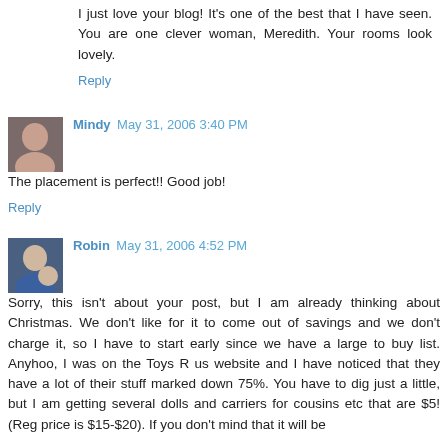I just love your blog! It's one of the best that I have seen. You are one clever woman, Meredith. Your rooms look lovely.
Reply
Mindy May 31, 2006 3:40 PM
The placement is perfect!! Good job!
Reply
Robin May 31, 2006 4:52 PM
Sorry, this isn't about your post, but I am already thinking about Christmas. We don't like for it to come out of savings and we don't charge it, so I have to start early since we have a large to buy list. Anyhoo, I was on the Toys R us website and I have noticed that they have a lot of their stuff marked down 75%. You have to dig just a little, but I am getting several dolls and carriers for cousins etc that are $5! (Reg price is $15-$20). If you don't mind that it will be